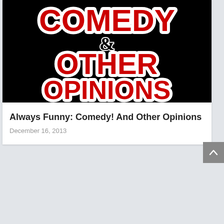[Figure (illustration): Black background with bold red stylized text reading 'COMEDY & OTHER OPINIONS' with white outline/glow effect. The ampersand is in black serif font.]
Always Funny: Comedy! And Other Opinions
December 16, 2013